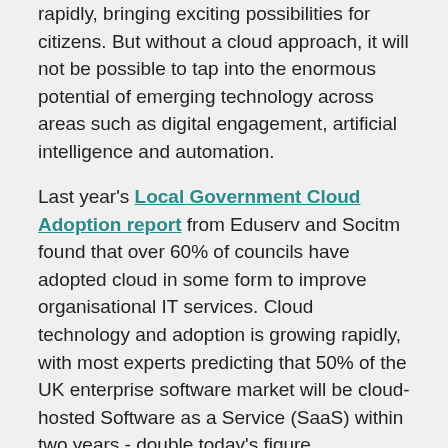rapidly, bringing exciting possibilities for citizens. But without a cloud approach, it will not be possible to tap into the enormous potential of emerging technology across areas such as digital engagement, artificial intelligence and automation.
Last year's Local Government Cloud Adoption report from Eduserv and Socitm found that over 60% of councils have adopted cloud in some form to improve organisational IT services. Cloud technology and adoption is growing rapidly, with most experts predicting that 50% of the UK enterprise software market will be cloud-hosted Software as a Service (SaaS) within two years - double today's figure.
With cloud underpinning deeper business intelligence, improved service outcomes and being more secure and greener than ever before, we take a look at how some councils are already starting to reap the benefits.